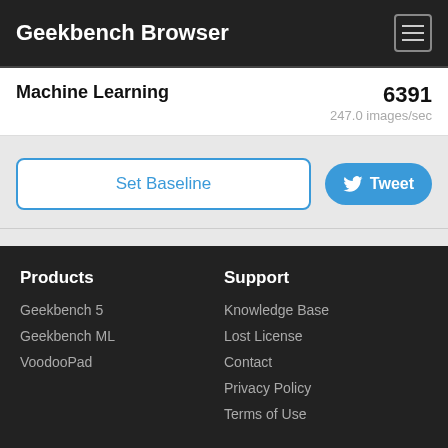Geekbench Browser
Machine Learning
6391
247.0 images/sec
Set Baseline
Tweet
Products
Geekbench 5
Geekbench ML
VoodooPad
Support
Knowledge Base
Lost License
Contact
Privacy Policy
Terms of Use